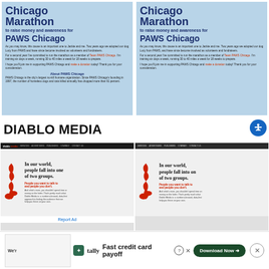[Figure (screenshot): Two side-by-side screenshots of Chicago Marathon fundraising pages for PAWS Chicago, with light blue background, bold dark blue title text 'Chicago Marathon to raise money and awareness for PAWS Chicago', body text and links in red, and an 'About PAWS Chicago' section.]
DIABLO MEDIA
[Figure (screenshot): Two side-by-side screenshots of Diablo Media website showing dark nav bar and content area with red flame logo and text 'In our world, people fall into one of two groups. People you want to talk to and people you don't.']
Report Ad
[Figure (screenshot): Bottom advertisement banner: Tally logo with green icon, text 'Fast credit card payoff', and a green 'Download Now' button with arrow, plus close controls.]